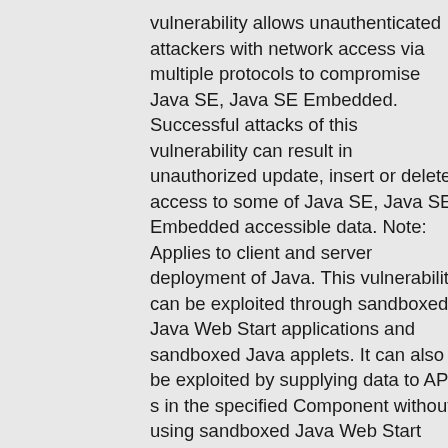vulnerability allows unauthenticated attackers with network access via multiple protocols to compromise Java SE, Java SE Embedded. Successful attacks of this vulnerability can result in unauthorized update, insert or delete access to some of Java SE, Java SE Embedded accessible data. Note: Applies to client and server deployment of Java. This vulnerability can be exploited through sandboxed Java Web Start applications and sandboxed Java applets. It can also be exploited by supplying data to APIs in the specified Component without using sandboxed Java Web Start applications or sandboxed Java applets, such as through a web service. CVSS 3.1 Base Score 3.7 (Integrity impacts). CVSS Vector: (CVSS:3.1/AV:N/AC:H/PR:N/UI:N/S:U/C:N/...
Published: October 21, 2020; 11:15:19 AM